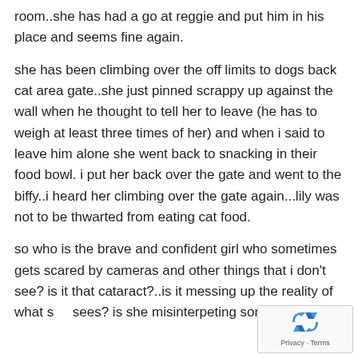room..she has had a go at reggie and put him in his place and seems fine again.
she has been climbing over the off limits to dogs back cat area gate..she just pinned scrappy up against the wall when he thought to tell her to leave (he has to weigh at least three times of her) and when i said to leave him alone she went back to snacking in their food bowl. i put her back over the gate and went to the biffy..i heard her climbing over the gate again...lily was not to be thwarted from eating cat food.
so who is the brave and confident girl who sometimes gets scared by cameras and other things that i don't see? is it that cataract?..is it messing up the reality of what she sees? is she misinterpeting somethings????